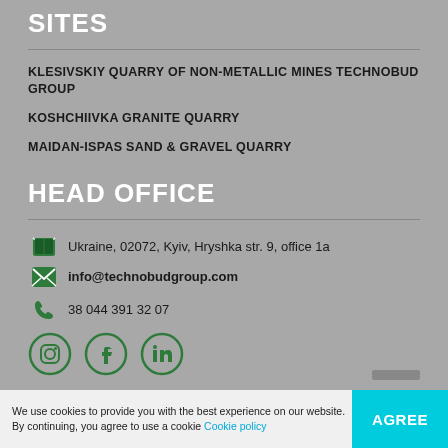SITES
KLESIVSKIY QUARRY OF NON-METALLIC MINES TECHNOBUD GROUP
KOSHCHIIVKA GRANITE QUARRY
MAIDAN-ISPAS SAND & GRAVEL QUARRY
HEAD OFFICE
Ukraine, 02072, Kyiv, Hryshka str. 9, office 1a
info@technobudgroup.com
38 044 391 32 07
[Figure (other): Social media icons: Instagram, Facebook, LinkedIn]
We use cookies to provide you with the best experience on our website. By continuing, you agree to use a cookie Cookie policy